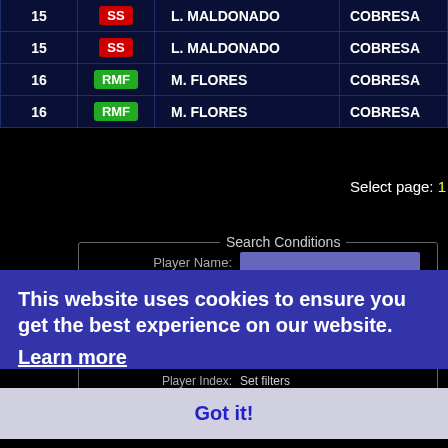| # | POS | NAME | TEAM |
| --- | --- | --- | --- |
| 15 | SS | L. MALDONADO | COBRESA |
| 15 | SS | L. MALDONADO | COBRESA |
| 16 | RMF | M. FLORES | COBRESA |
| 16 | RMF | M. FLORES | COBRESA |
Select page: 1
Search Conditions
Player Name:
Game Mode: Show All Players
Basic Settings: Set filters
Position Settings: Set filters
Ability settings: Set filters
Player Index: Set filters
League Settings: Set filters
This website uses cookies to ensure you get the best experience on our website.
Learn more
Got it!